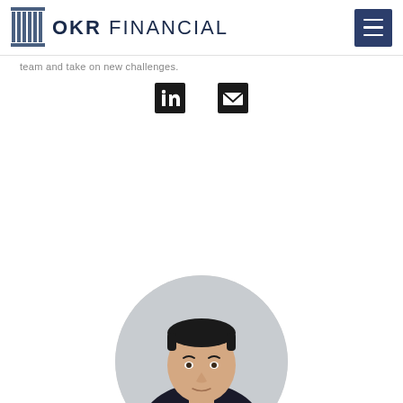OKR FINANCIAL
team and take on new challenges.
[Figure (other): LinkedIn and email social media icons]
[Figure (photo): Circular headshot photo of a young man in a suit, cropped at bottom of page]